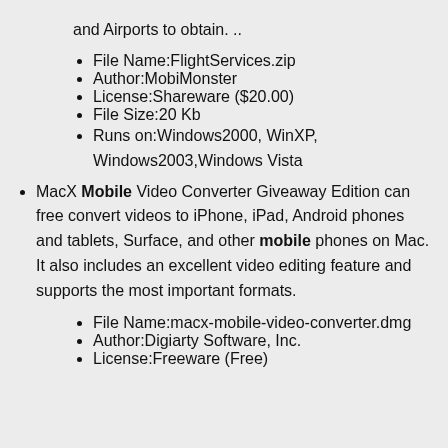and Airports to obtain. ..
File Name:FlightServices.zip
Author:MobiMonster
License:Shareware ($20.00)
File Size:20 Kb
Runs on:Windows2000, WinXP, Windows2003,Windows Vista
MacX Mobile Video Converter Giveaway Edition can free convert videos to iPhone, iPad, Android phones and tablets, Surface, and other mobile phones on Mac. It also includes an excellent video editing feature and supports the most important formats.
File Name:macx-mobile-video-converter.dmg
Author:Digiarty Software, Inc.
License:Freeware (Free)